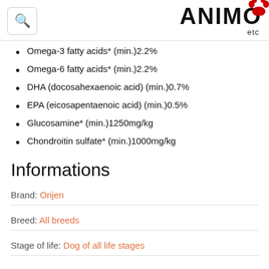ANIMO etc
Omega-3 fatty acids* (min.)2.2%
Omega-6 fatty acids* (min.)2.2%
DHA (docosahexaenoic acid) (min.)0.7%
EPA (eicosapentaenoic acid) (min.)0.5%
Glucosamine* (min.)1250mg/kg
Chondroitin sulfate* (min.)1000mg/kg
Informations
Brand: Orijen
Breed: All breeds
Stage of life: Dog of all life stages